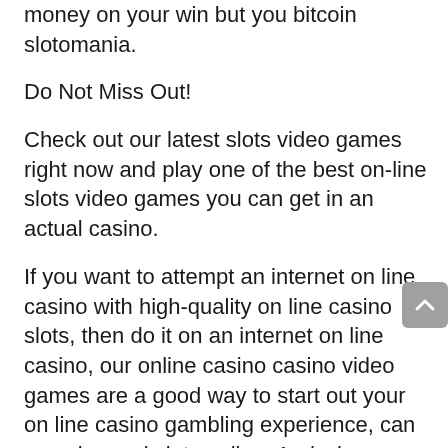money on your win but you bitcoin slotomania.
Do Not Miss Out!
Check out our latest slots video games right now and play one of the best on-line slots video games you can get in an actual casino.
If you want to attempt an internet on line casino with high-quality on line casino slots, then do it on an internet on line casino, our online casino casino video games are a good way to start out your on line casino gambling experience, can you play real slots online. And when you get used to our new online casino games, then you will get your money!
With the assistance of free bitcoin deposit bonuses, you get the chance to